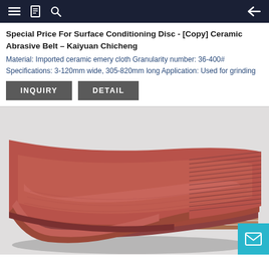Navigation bar with menu, bookmark, search icons and back arrow
Special Price For Surface Conditioning Disc - [Copy] Ceramic Abrasive Belt – Kaiyuan Chicheng
Material: Imported ceramic emery cloth Granularity number: 36-400# Specifications: 3-120mm wide, 305-820mm long Application: Used for grinding
INQUIRY
DETAIL
[Figure (photo): Stack of red/brown ceramic abrasive belts folded and stacked, showing layered edges on right side, reddish surface on top]